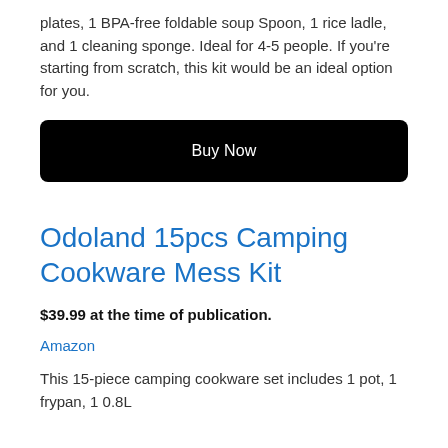plates, 1 BPA-free foldable soup Spoon, 1 rice ladle, and 1 cleaning sponge. Ideal for 4-5 people. If you're starting from scratch, this kit would be an ideal option for you.
[Figure (other): Black rounded rectangle button with white text 'Buy Now']
Odoland 15pcs Camping Cookware Mess Kit
$39.99 at the time of publication.
Amazon
This 15-piece camping cookware set includes 1 pot, 1 frypan, 1 0.8L